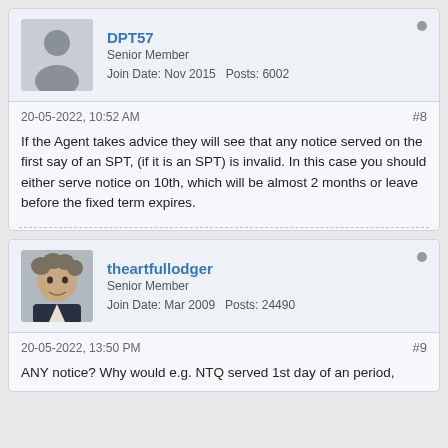DPT57
Senior Member
Join Date: Nov 2015   Posts: 6002
20-05-2022, 10:52 AM
#8
If the Agent takes advice they will see that any notice served on the first say of an SPT, (if it is an SPT) is invalid. In this case you should either serve notice on 10th, which will be almost 2 months or leave before the fixed term expires.
theartfullodger
Senior Member
Join Date: Mar 2009   Posts: 24490
20-05-2022, 13:50 PM
#9
ANY notice? Why would e.g. NTQ served 1st day of an period,